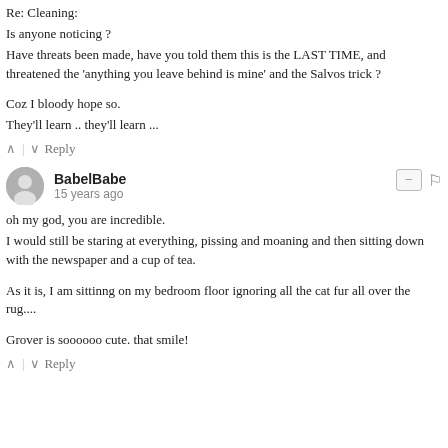Re: Cleaning:
Is anyone noticing ?
Have threats been made, have you told them this is the LAST TIME, and threatened the 'anything you leave behind is mine' and the Salvos trick ?
Coz I bloody hope so.
They'll learn .. they'll learn ...
Reply
BabelBabe
15 years ago
oh my god, you are incredible.
I would still be staring at everything, pissing and moaning and then sitting down with the newspaper and a cup of tea.
As it is, I am sittinng on my bedroom floor ignoring all the cat fur all over the rug....
Grover is soooooo cute. that smile!
Reply